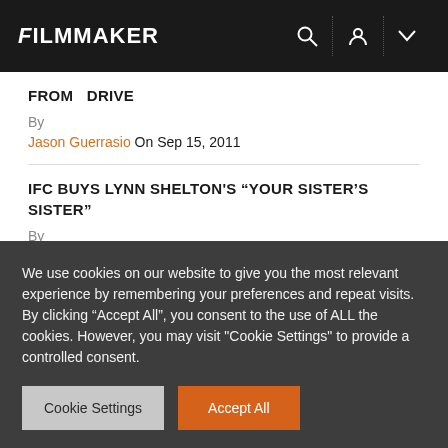FILMMAKER
FROM   DRIVE
By
Jason Guerrasio On Sep 15, 2011
IFC BUYS LYNN SHELTON'S “YOUR SISTER’S SISTER”
By
Jason Guerrasio On Sep 14, 2011
We use cookies on our website to give you the most relevant experience by remembering your preferences and repeat visits. By clicking “Accept All”, you consent to the use of ALL the cookies. However, you may visit "Cookie Settings" to provide a controlled consent.
Cookie Settings
Accept All